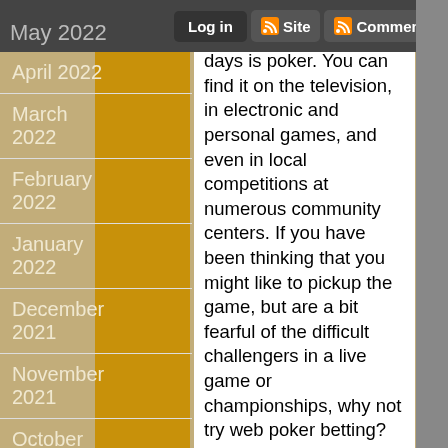May 2022 | Log in | Site | Comments
April 2022
March 2022
February 2022
January 2022
December 2021
November 2021
October 2021
September 2021
August 2021
July 2021
June 2021
May 2021
prominent pasutimes now-a days is poker. You can find it on the television, in electronic and personal games, and even in local competitions at numerous community centers. If you have been thinking that you might like to pickup the game, but are a bit fearful of the difficult challengers in a live game or championships, why not try web poker betting?

Many online poker wagering webpages are extremely welcoming to